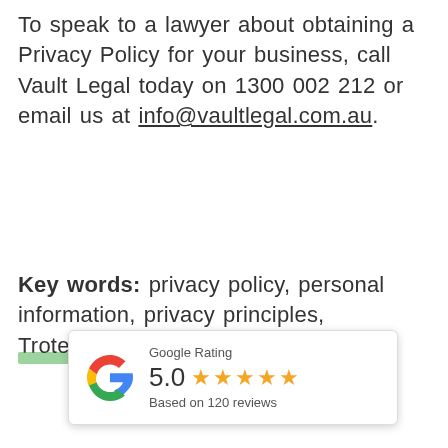To speak to a lawyer about obtaining a Privacy Policy for your business, call Vault Legal today on 1300 002 212 or email us at info@vaultlegal.com.au.
Key words: privacy policy, personal information, privacy principles, Tr[ademarks/Trust] protection.
[Figure (other): Google Rating widget showing 5.0 stars based on 120 reviews, with Google G logo]